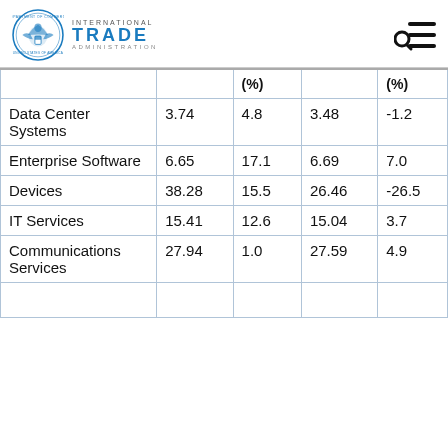International Trade Administration
|  |  | (%) |  | (%) |
| --- | --- | --- | --- | --- |
| Data Center Systems | 3.74 | 4.8 | 3.48 | -1.2 |
| Enterprise Software | 6.65 | 17.1 | 6.69 | 7.0 |
| Devices | 38.28 | 15.5 | 26.46 | -26.5 |
| IT Services | 15.41 | 12.6 | 15.04 | 3.7 |
| Communications Services | 27.94 | 1.0 | 27.59 | 4.9 |